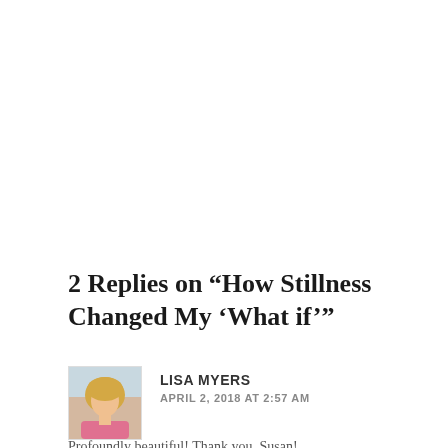2 Replies on “How Stillness Changed My ‘What if’”
LISA MYERS
APRIL 2, 2018 AT 2:57 AM
Profoundly beautiful! Thank you, Susan!